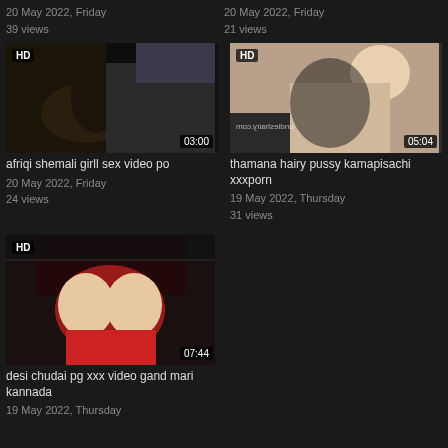20 May 2022, Friday
39 views
20 May 2022, Friday
21 views
[Figure (photo): Video thumbnail with HD badge, duration 03:00]
afriqi shemali girll sex video po
20 May 2022, Friday
24 views
[Figure (photo): Video thumbnail with HD badge, watermark undieshairy.com, duration 05:04]
thamana hairy pussy kamapisachi xxxporn
19 May 2022, Thursday
31 views
[Figure (photo): Video thumbnail with HD badge, duration 07:44]
desi chudai pg xxx video gand mari kannada
19 May 2022, Thursday